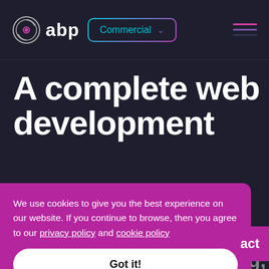[Figure (logo): ABP logo with circular icon and 'abp' wordmark in white]
Commercial ∨
A complete web development
We use cookies to give you the best experience on our website. If you continue to browse, then you agree to our privacy policy and cookie policy
Got it!